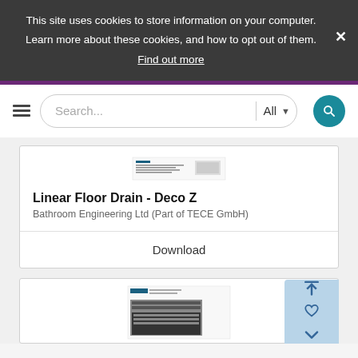This site uses cookies to store information on your computer. Learn more about these cookies, and how to opt out of them. Find out more
[Figure (screenshot): Search bar UI with hamburger menu, search input, All dropdown, and teal search button]
[Figure (photo): Thumbnail image of Linear Floor Drain Deco Z document]
Linear Floor Drain - Deco Z
Bathroom Engineering Ltd (Part of TECE GmbH)
Download
[Figure (photo): Thumbnail of second product document card partially visible]